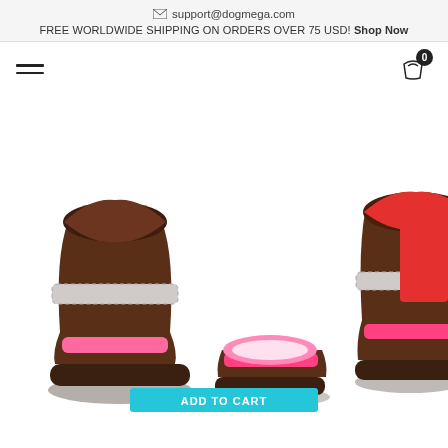✉ support@dogmega.com
FREE WORLDWIDE SHIPPING ON ORDERS OVER 75 USD! Shop Now
[Figure (photo): Navigation bar with hamburger menu on left and shopping cart with badge '0' on right]
[Figure (photo): Product photo showing dog boots/shoes in brown and red/pink colors with white velcro straps, multiple pairs shown close-up from front angle]
ADD TO CART